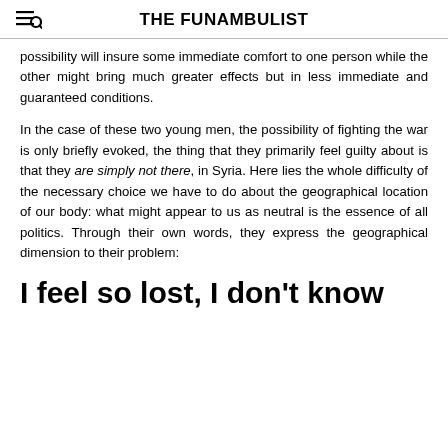THE FUNAMBULIST
possibility will insure some immediate comfort to one person while the other might bring much greater effects but in less immediate and guaranteed conditions.
In the case of these two young men, the possibility of fighting the war is only briefly evoked, the thing that they primarily feel guilty about is that they are simply not there, in Syria. Here lies the whole difficulty of the necessary choice we have to do about the geographical location of our body: what might appear to us as neutral is the essence of all politics. Through their own words, they express the geographical dimension to their problem:
I feel so lost, I don't know